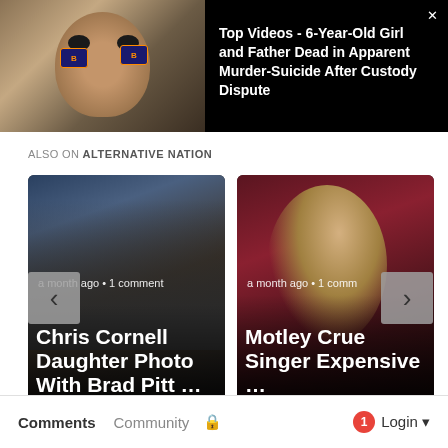[Figure (screenshot): Video thumbnail showing a child's face with sports team stickers/face paint]
Top Videos - 6-Year-Old Girl and Father Dead in Apparent Murder-Suicide After Custody Dispute
ALSO ON ALTERNATIVE NATION
[Figure (screenshot): Card showing Chris Cornell Daughter Photo With Brad Pitt ... - a month ago • 1 comment]
[Figure (screenshot): Card showing Motley Crue Singer Expensive ... - a month ago • 1 comm]
Comments  Community  🔒  1  Login ▼